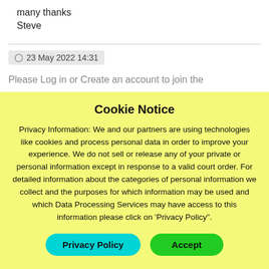many thanks
Steve
23 May 2022 14:31
Please Log in or Create an account to join the
Cookie Notice
Privacy Information: We and our partners are using technologies like cookies and process personal data in order to improve your experience. We do not sell or release any of your private or personal information except in response to a valid court order. For detailed information about the categories of personal information we collect and the purposes for which information may be used and which Data Processing Services may have access to this information please click on 'Privacy Policy".
Privacy Policy
Accept